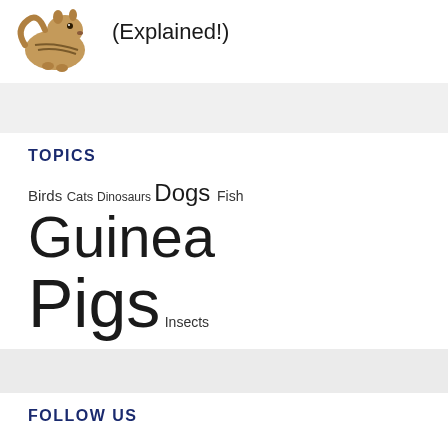[Figure (photo): Photo of a chipmunk on white background]
(Explained!)
TOPICS
Birds Cats Dinosaurs Dogs Fish Guinea Pigs Insects
FOLLOW US